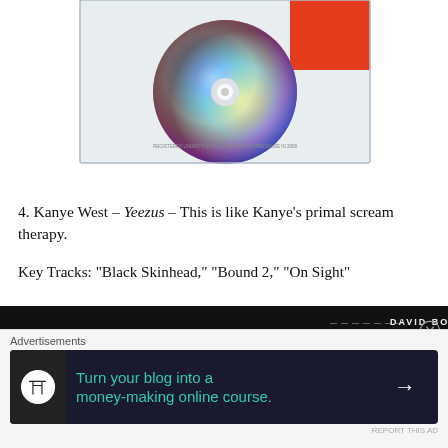[Figure (photo): Kanye West Yeezus album cover - a CD in a clear jewel case with an orange/red section in the upper right corner, rainbow iridescent disc visible]
4. Kanye West – Yeezus – This is like Kanye's primal scream therapy.
Key Tracks: “Black Skinhead,” “Bound 2,” “On Sight”
[Figure (photo): David Bowie album cover - black and white photo of a person with text 'DAVID BOWIE' in the upper right]
Advertisements
[Figure (other): Advertisement banner: Turn your blog into a money-making online course. with arrow button]